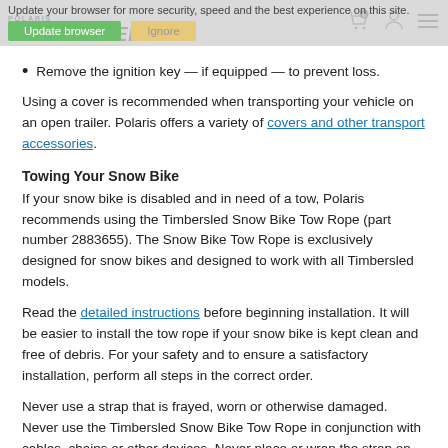POLARIS TIMBERSLED — Update your browser for more security, speed and the best experience on this site. [Update browser] [Ignore]
Remove the ignition key — if equipped — to prevent loss.
Using a cover is recommended when transporting your vehicle on an open trailer. Polaris offers a variety of covers and other transport accessories.
Towing Your Snow Bike
If your snow bike is disabled and in need of a tow, Polaris recommends using the Timbersled Snow Bike Tow Rope (part number 2883655). The Snow Bike Tow Rope is exclusively designed for snow bikes and designed to work with all Timbersled models.
Read the detailed instructions before beginning installation. It will be easier to install the tow rope if your snow bike is kept clean and free of debris. For your safety and to ensure a satisfactory installation, perform all steps in the correct order.
Never use a strap that is frayed, worn or otherwise damaged. Never use the Timbersled Snow Bike Tow Rope in conjunction with cables, chains or other devices. Never place or wrap the strap on or around any sharp objects that may damage, cut or otherwise compromise the strap integrity. Never apply excessive force into the strap by using it as a jerk strap. Always take out all